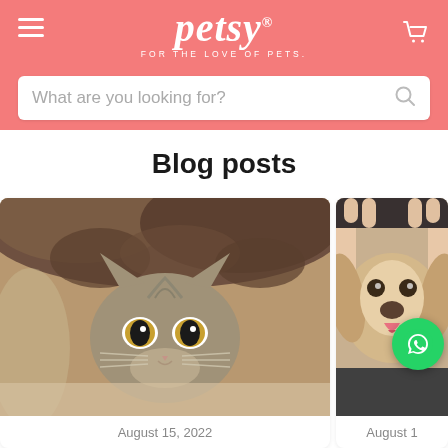petsy® — FOR THE LOVE OF PETS. Navigation header with hamburger menu, logo, cart icon, and search bar.
Blog posts
[Figure (photo): A cat peeking out from under a brown fuzzy blanket, looking at the camera with wide amber eyes.]
August 15, 2022
[Figure (photo): A Chihuahua puppy being held by a person's hands on either side of its head, with a WhatsApp floating button overlaid.]
August 1